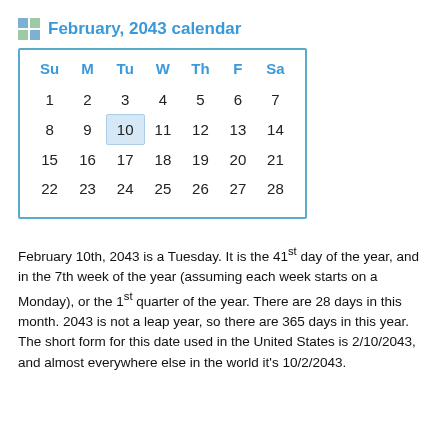February, 2043 calendar
| Su | M | Tu | W | Th | F | Sa |
| --- | --- | --- | --- | --- | --- | --- |
| 1 | 2 | 3 | 4 | 5 | 6 | 7 |
| 8 | 9 | 10 | 11 | 12 | 13 | 14 |
| 15 | 16 | 17 | 18 | 19 | 20 | 21 |
| 22 | 23 | 24 | 25 | 26 | 27 | 28 |
February 10th, 2043 is a Tuesday. It is the 41st day of the year, and in the 7th week of the year (assuming each week starts on a Monday), or the 1st quarter of the year. There are 28 days in this month. 2043 is not a leap year, so there are 365 days in this year. The short form for this date used in the United States is 2/10/2043, and almost everywhere else in the world it's 10/2/2043.